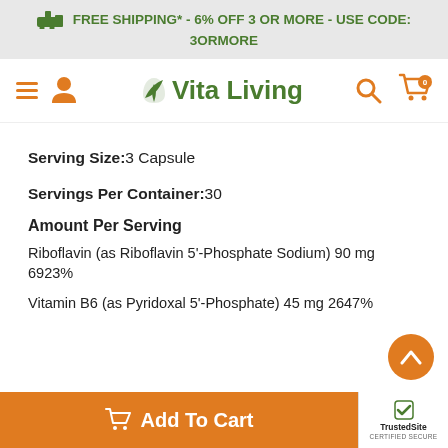FREE SHIPPING* - 6% OFF 3 OR MORE - USE CODE: 3ORMORE
[Figure (logo): Vita Living website navigation bar with hamburger menu, user icon, Vita Living logo with leaf, search icon, and cart icon]
Serving Size:3 Capsule
Servings Per Container:30
Amount Per Serving
Riboflavin (as Riboflavin 5'-Phosphate Sodium) 90 mg 6923%
Vitamin B6 (as Pyridoxal 5'-Phosphate) 45 mg 2647%
[Figure (other): Add To Cart button with shopping cart icon]
[Figure (other): TrustedSite Certified Secure badge]